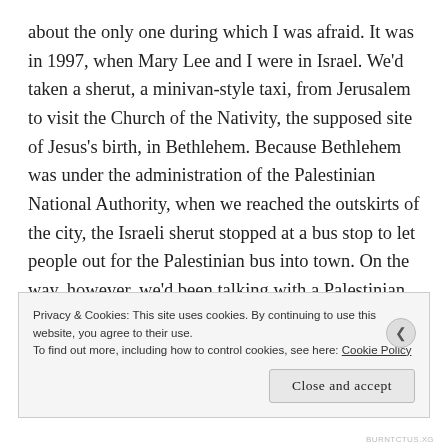about the only one during which I was afraid. It was in 1997, when Mary Lee and I were in Israel. We'd taken a sherut, a minivan-style taxi, from Jerusalem to visit the Church of the Nativity, the supposed site of Jesus's birth, in Bethlehem. Because Bethlehem was under the administration of the Palestinian National Authority, when we reached the outskirts of the city, the Israeli sherut stopped at a bus stop to let people out for the Palestinian bus into town. On the way, however, we'd been talking with a Palestinian couple—teachers in Europe, I forget where. Their car was in the parking lot, so they gave us a ride up to
Privacy & Cookies: This site uses cookies. By continuing to use this website, you agree to their use.
To find out more, including how to control cookies, see here: Cookie Policy
Close and accept
BURNTCTUS.XG